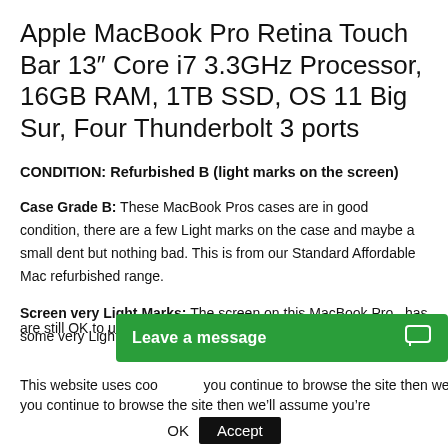Apple MacBook Pro Retina Touch Bar 13″ Core i7 3.3GHz Processor, 16GB RAM, 1TB SSD, OS 11 Big Sur, Four Thunderbolt 3 ports
CONDITION: Refurbished B (light marks on the screen)
Case Grade B: These MacBook Pros cases are in good condition, there are a few Light marks on the case and maybe a small dent but nothing bad. This is from our Standard Affordable Mac refurbished range.
Screen very Light Marks: The screen on this MacBook Pro  has some very Light marks on the screen.  They are still OK to use on...
This website uses coo... you continue to browse the site then we’ll assume you’re
OK  Accept